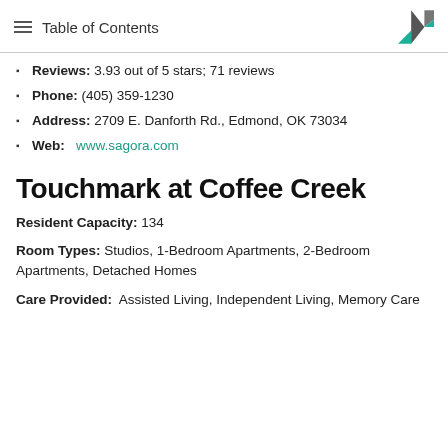Table of Contents
Reviews: 3.93 out of 5 stars; 71 reviews
Phone: (405) 359-1230
Address: 2709 E. Danforth Rd., Edmond, OK 73034
Web: www.sagora.com
Touchmark at Coffee Creek
Resident Capacity: 134
Room Types: Studios, 1-Bedroom Apartments, 2-Bedroom Apartments, Detached Homes
Care Provided: Assisted Living, Independent Living, Memory Care